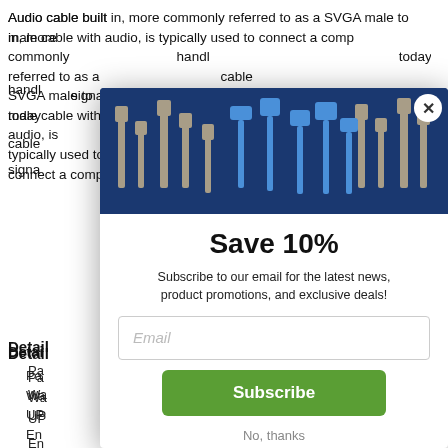Audio cable built in, more commonly referred to as a SVGA male to male cable with audio, is typically used to connect a computer to a projector. These cables can handle high resolution transmissions today. By integrating audio with your VGA cable you're able to transmit both audio and video signals.
Details
Part
Warranty
UPC
End 1
End 2
Length
Color
Wire
Shield Type    Foil Braid Spiral
[Figure (photo): Modal popup overlay showing cables/connectors image banner on dark blue background with a close (X) button]
Save 10%
Subscribe to our email for the latest news, product promotions, and exclusive deals!
Email
Subscribe
No, thanks